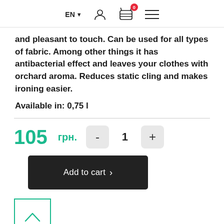EN  [user icon] [cart icon: 0] [menu icon]
and pleasant to touch. Can be used for all types of fabric. Among other things it has antibacterial effect and leaves your clothes with orchard aroma. Reduces static cling and makes ironing easier.
Available in: 0,75 l
105 грн.  -  1  +
Add to cart >
[Figure (other): Back to top button — square with teal border containing an upward chevron arrow in teal]